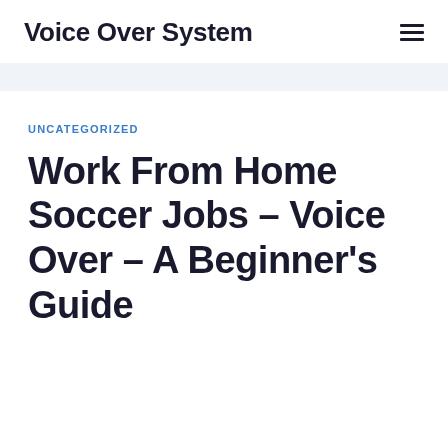Voice Over System
UNCATEGORIZED
Work From Home Soccer Jobs – Voice Over – A Beginner's Guide